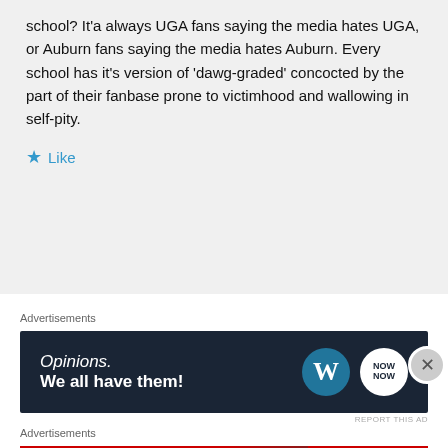school? It'a always UGA fans saying the media hates UGA, or Auburn fans saying the media hates Auburn. Every school has it's version of 'dawg-graded' concocted by the part of their fanbase prone to victimhood and wallowing in self-pity.
Like
Advertisements
[Figure (screenshot): Dark navy advertisement banner reading 'Opinions. We all have them!' with WordPress and NOW logos on the right]
REPORT THIS AD
Advertisements
[Figure (screenshot): Macy's advertisement with red background showing lips photo, text 'KISS BORING LIPS GOODBYE', SHOP NOW button and Macy's logo]